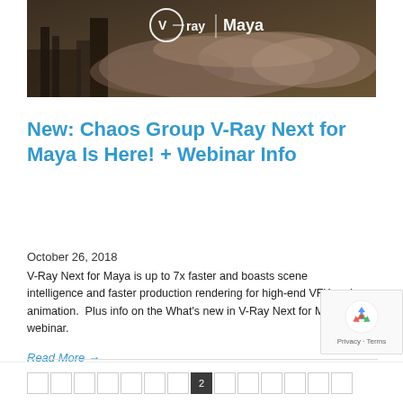[Figure (photo): Dark industrial scene with V-Ray and Maya logos overlaid on top. Shows machinery/industrial equipment with smoke/dust in a sepia-toned image. White V-Ray logo and Maya branding text visible at top.]
New: Chaos Group V-Ray Next for Maya Is Here! + Webinar Info
October 26, 2018
V-Ray Next for Maya is up to 7x faster and boasts scene intelligence and faster production rendering for high-end VFX and animation.  Plus info on the What’s new in V-Ray Next for Maya webinar.
Read More →
[Figure (other): reCAPTCHA privacy badge with recycling arrow icon, showing Privacy and Terms links]